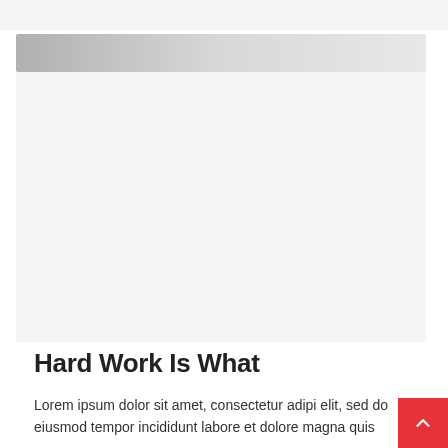[Figure (other): Gradient banner bar — grayscale gradient from dark gray on left to light gray on right]
[Figure (other): Large light gray image placeholder area]
Hard Work Is What
Lorem ipsum dolor sit amet, consectetur adipi elit, sed do eiusmod tempor incididunt labore et dolore magna quis